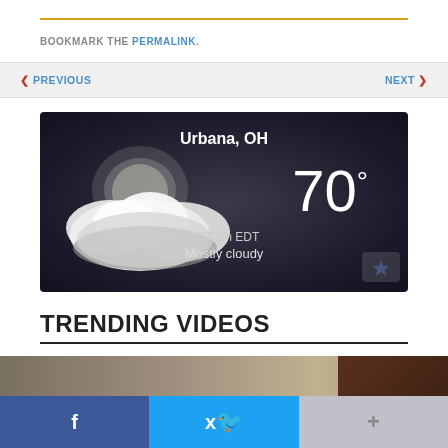BOOKMARK THE PERMALINK.
◀ PREVIOUS   NEXT ▶
[Figure (screenshot): Weather widget showing Urbana, OH with temperature 70°, time 2:07 am EDT, condition Mostly cloudy, dark background with cloud and moon illustration]
TRENDING VIDEOS
[Figure (screenshot): Video thumbnail for 'How to Make Basic Meringue' with brownish background and recipe logo on right]
f  🐦  +